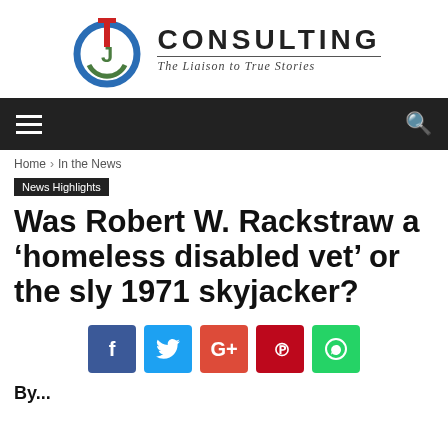[Figure (logo): CTJ Consulting logo with circular emblem and text 'CONSULTING / The Liaison to True Stories']
Navigation bar with hamburger menu and search icon
Home > In the News
News Highlights
Was Robert W. Rackstraw a ‘homeless disabled vet’ or the sly 1971 skyjacker?
[Figure (infographic): Social share buttons: Facebook, Twitter, Google+, Pinterest, WhatsApp]
By...